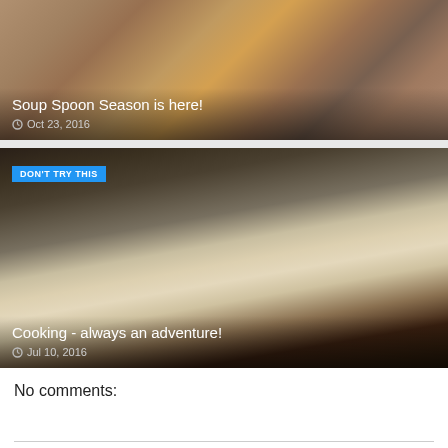[Figure (photo): Food photo showing tomatoes and ingredients in a bowl/plate, with text overlay 'Soup Spoon Season is here!' and date 'Oct 23, 2016']
[Figure (photo): Food photo showing a spoon piled with white rice/grains on a dark background, with a blue 'DON'T TRY THIS' tag, title 'Cooking - always an adventure!' and date 'Jul 10, 2016']
No comments: